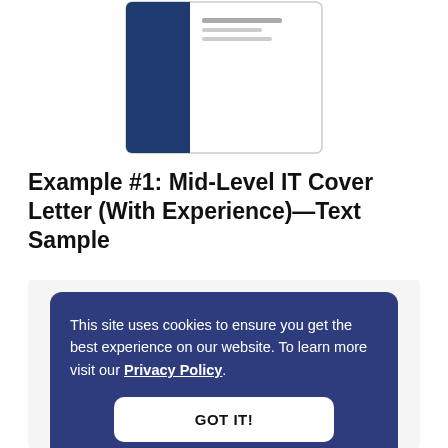[Figure (illustration): Partial view of a resume/cover letter template thumbnail showing a dark navy blue sidebar on the left and white content area on the right with small text lines]
Example #1: Mid-Level IT Cover Letter (With Experience)—Text Sample
This site uses cookies to ensure you get the best experience on our website. To learn more visit our Privacy Policy.
GOT IT!